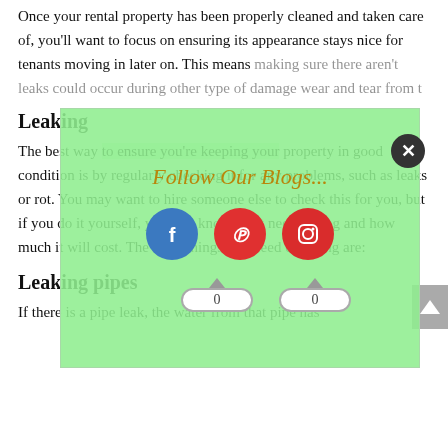Once your rental property has been properly cleaned and taken care of, you'll want to focus on ensuring its appearance stays nice for tenants moving in later on. This means making sure there aren't any leaks could occur during other type of damage wear and tear from t
[Figure (infographic): A popup overlay with light green background titled 'Follow Our Blogs...' with three social media icons (Facebook, Pinterest, Instagram) and two share counters showing 0, plus a close button.]
Leaking
The best way to ensure you're keeping your property in good condition is by regularly checking it for any problems, such as leaks or rot. You may want to hire someone else to check this for you, but if you do it yourself, you will know what needs doing and how much it will cost. The main things that need checking are:
Leaking pipes
If there is a pipe leak, the water from that pipe has